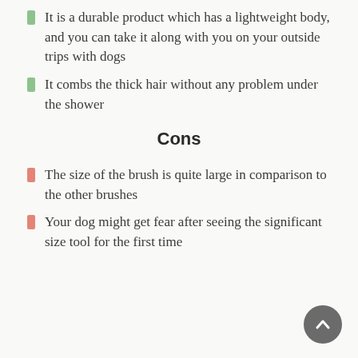It is a durable product which has a lightweight body, and you can take it along with you on your outside trips with dogs
It combs the thick hair without any problem under the shower
Cons
The size of the brush is quite large in comparison to the other brushes
Your dog might get fear after seeing the significant size tool for the first time